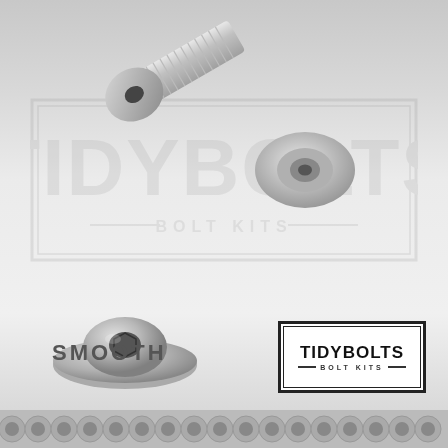[Figure (photo): Product photo showing stainless steel bolt kit components: a button-head socket cap screw (bolt) at top, a countersunk washer at upper right, and an assembled bolt-with-washer at lower left, all in polished stainless steel finish. A watermark of the TidyBolts Bolt Kits logo appears in the background. At the bottom, a decorative strip of small bolts is visible.]
SMOOTH
[Figure (logo): TidyBolts Bolt Kits logo in a rectangular box with double border lines. Text reads TIDYBOLTS in large bold letters with BOLT KITS below in smaller spaced letters with decorative lines on either side.]